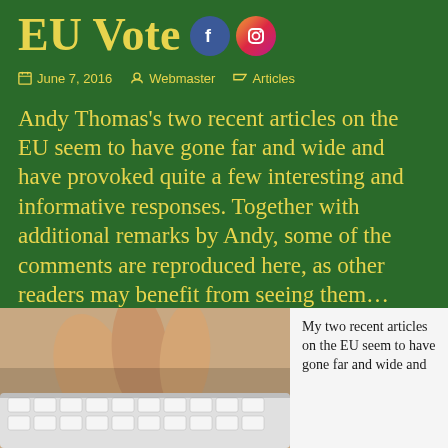EU Vote
June 7, 2016 · Webmaster · Articles
Andy Thomas's two recent articles on the EU seem to have gone far and wide and have provoked quite a few interesting and informative responses. Together with additional remarks by Andy, some of the comments are reproduced here, as other readers may benefit from seeing them…
[Figure (photo): Hands typing on a white keyboard, close-up photo]
My two recent articles on the EU seem to have gone far and wide and